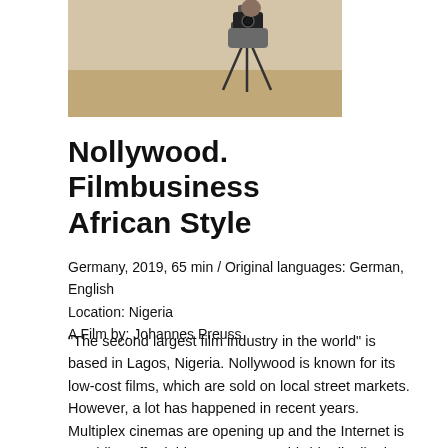[Figure (photo): A person operating a camera on a tripod in an outdoor sandy location, partially visible at top of page.]
Nollywood. Filmbusiness African Style
Germany, 2019, 65 min / Original languages: German, English
Location: Nigeria
A Film by: Johannes Preuss
"The second largest film industry in the world" is based in Lagos, Nigeria. Nollywood is known for its low-cost films, which are sold on local street markets. However, a lot has happened in recent years. Multiplex cinemas are opening up and the Internet is providing affordable access to worldwide distribution. These new opportunities attract diverse characters. For director Abba Makama, the moment has come for an intellectual cinematic movement. Bastian Gotter, a young